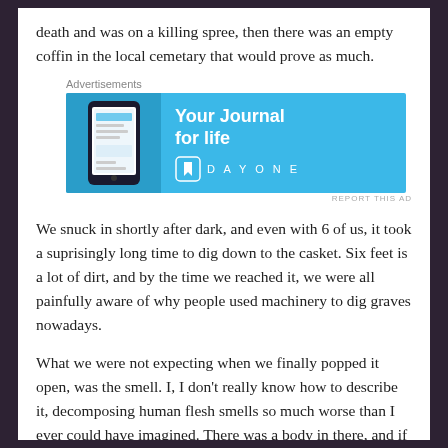death and was on a killing spree, then there was an empty coffin in the local cemetary that would prove as much.
[Figure (other): Advertisement banner for DayOne journal app with blue background, phone graphic on left, text 'Your Journal for life' in center, and DayOne logo on right.]
We snuck in shortly after dark, and even with 6 of us, it took a suprisingly long time to dig down to the casket. Six feet is a lot of dirt, and by the time we reached it, we were all painfully aware of why people used machinery to dig graves nowadays.
What we were not expecting when we finally popped it open, was the smell. I, I don't really know how to describe it, decomposing human flesh smells so much worse than I ever could have imagined. There was a body in there, and if